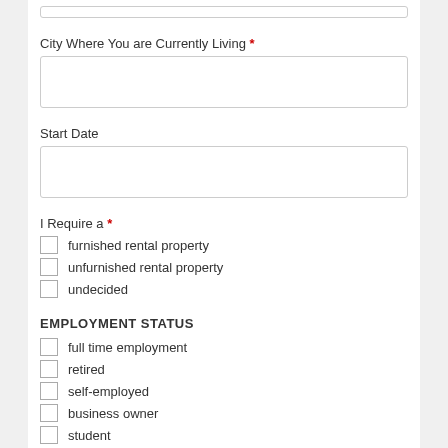[top input field]
City Where You are Currently Living *
[text input field]
Start Date
[text input field]
I Require a *
furnished rental property
unfurnished rental property
undecided
EMPLOYMENT STATUS
full time employment
retired
self-employed
business owner
student